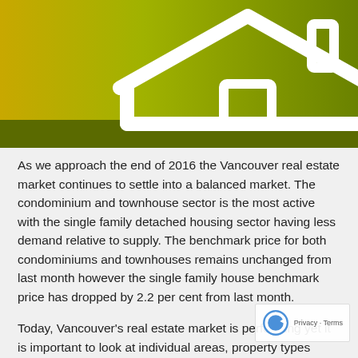[Figure (illustration): Illustration of a house icon (white outline of a house with roof, walls, door and chimney) on a gradient green-yellow-olive background, with a darker olive/brown horizontal band at the bottom.]
As we approach the end of 2016 the Vancouver real estate market continues to settle into a balanced market. The condominium and townhouse sector is the most active with the single family detached housing sector having less demand relative to supply. The benchmark price for both condominiums and townhouses remains unchanged from last month however the single family house benchmark price has dropped by 2.2 per cent from last month.
Today, Vancouver's real estate market is performing yet it is important to look at individual areas, property types